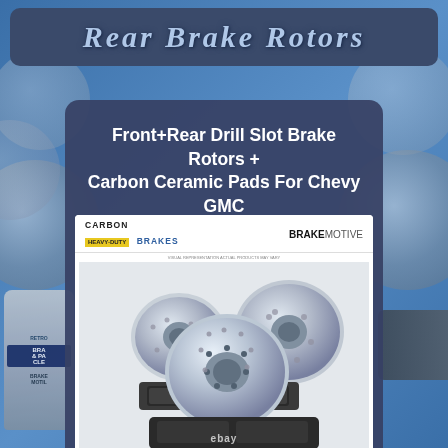Rear Brake Rotors
Front+Rear Drill Slot Brake Rotors + Carbon Ceramic Pads For Chevy GMC 2500 3500
[Figure (photo): Product photo showing drilled and slotted brake rotors with carbon ceramic brake pads, branded Carbon Heavy-Duty Brakes and Brake Motive. eBay listing image.]